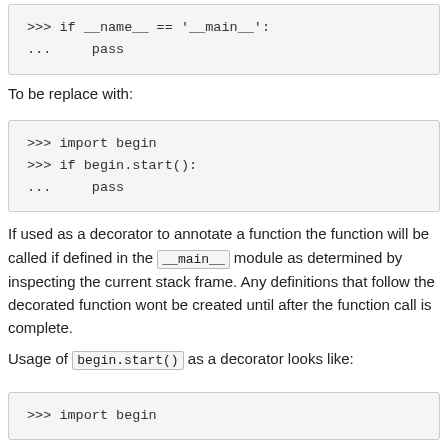[Figure (screenshot): Code block showing: >>> if __name__ == '__main__':
...     pass]
To be replace with:
[Figure (screenshot): Code block showing: >>> import begin
>>> if begin.start():
...     pass]
If used as a decorator to annotate a function the function will be called if defined in the __main__ module as determined by inspecting the current stack frame. Any definitions that follow the decorated function wont be created until after the function call is complete.
Usage of begin.start() as a decorator looks like:
[Figure (screenshot): Code block showing: >>> import begin]